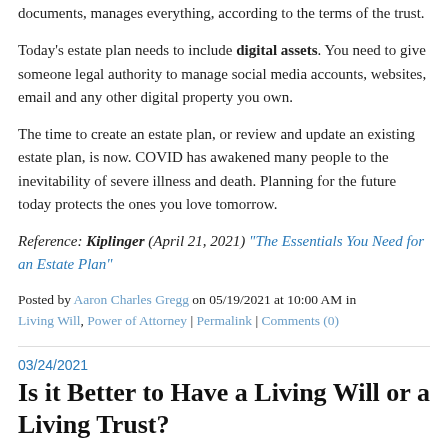documents, manages everything, according to the terms of the trust.
Today's estate plan needs to include digital assets. You need to give someone legal authority to manage social media accounts, websites, email and any other digital property you own.
The time to create an estate plan, or review and update an existing estate plan, is now. COVID has awakened many people to the inevitability of severe illness and death. Planning for the future today protects the ones you love tomorrow.
Reference: Kiplinger (April 21, 2021) "The Essentials You Need for an Estate Plan"
Posted by Aaron Charles Gregg on 05/19/2021 at 10:00 AM in Living Will, Power of Attorney | Permalink | Comments (0)
03/24/2021
Is it Better to Have a Living Will or a Living Trust?
“Whether you need a living will vs. living trust as part of your estate